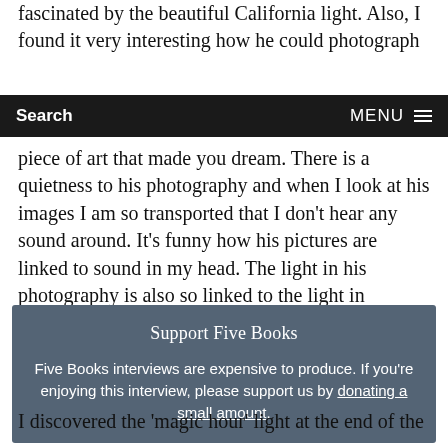fascinated by the beautiful California light. Also, I found it very interesting how he could photograph
Search   MENU
piece of art that made you dream. There is a quietness to his photography and when I look at his images I am so transported that I don't hear any sound around. It's funny how his pictures are linked to sound in my head. The light in his photography is also so linked to the light in California which is totally unique.
Support Five Books

Five Books interviews are expensive to produce. If you're enjoying this interview, please support us by donating a small amount.
I discovered the 'magic hour' light at the end of the